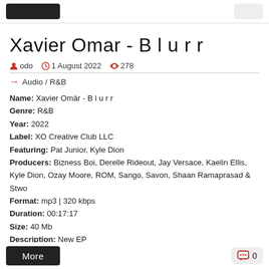Xavier Omar - B l u r r
odo  1 August 2022  278
Audio / R&B
Name: Xavier Omär - B l u r r
Genre: R&B
Year: 2022
Label: XO Creative Club LLC
Featuring: Pat Junior, Kyle Dion
Producers: Bizness Boi, Derelle Rideout, Jay Versace, Kaelin Ellis, Kyle Dion, Ozay Moore, ROM, Sango, Savon, Shaan Ramaprasad & Stwo
Format: mp3 | 320 kbps
Duration: 00:17:17
Size: 40 Mb
Description: New EP